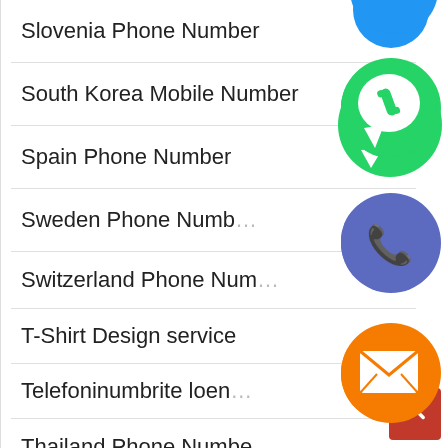Slovenia Phone Number
South Korea Mobile Number
Spain Phone Number
Sweden Phone Number
Switzerland Phone Number
T-Shirt Design service
Telefoninumbrite loend
Thailand Phone Number
Trending Phone Number
[Figure (infographic): Floating social media icons: WhatsApp (green), Viber/phone (blue-purple), Email (orange), LINE (green), Viber (purple), close/X (green), and a partially visible blue icon at top]